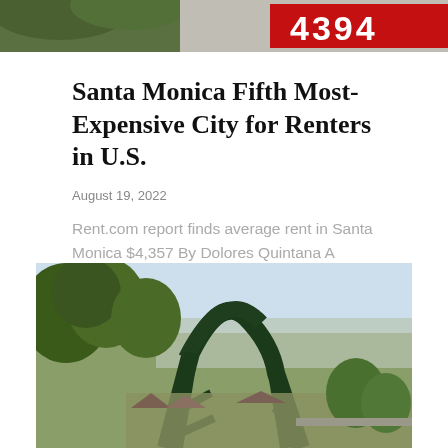[Figure (photo): Cropped top portion of a real estate or rental sign with red background and partial number visible (appears to show 4394 or similar), with green foliage in background]
Santa Monica Fifth Most-Expensive City for Renters in U.S.
August 19, 2022
Rent.com report finds average rent in Santa Monica $4,357 By Dolores Quintana A recent report listed Santa Monica as the…
[Figure (photo): Oil pump jack (pumpjack) in foreground with aerial view of Los Angeles urban landscape and trees in background, hazy sky]